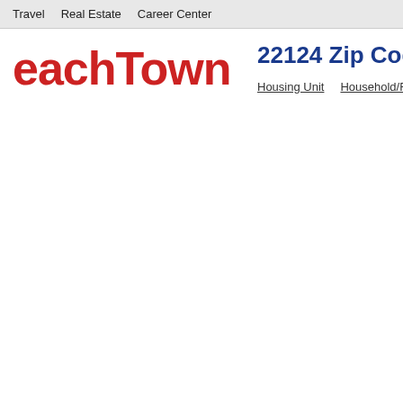Travel   Real Estate   Career Center
eachTown
22124 Zip Code Details
Housing Unit   Household/Family